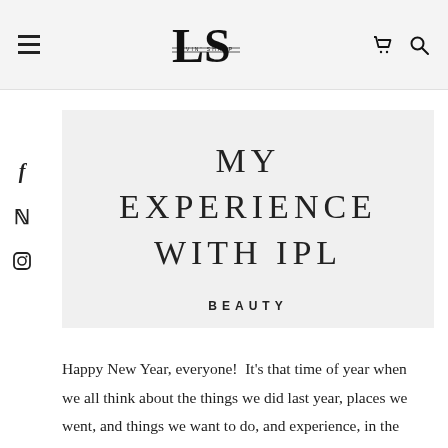LS LIVIN' SHARP
MY EXPERIENCE WITH IPL
BEAUTY
Happy New Year, everyone!  It's that time of year when we all think about the things we did last year, places we went, and things we want to do, and experience, in the coming